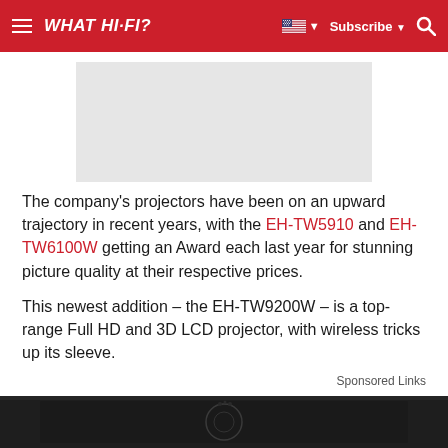WHAT HI-FI?
[Figure (other): Gray advertisement placeholder box]
The company's projectors have been on an upward trajectory in recent years, with the EH-TW5910 and EH-TW6100W getting an Award each last year for stunning picture quality at their respective prices.
This newest addition – the EH-TW9200W – is a top-range Full HD and 3D LCD projector, with wireless tricks up its sleeve.
Sponsored Links
[Figure (photo): Dark image strip at bottom of page showing partial view of product]